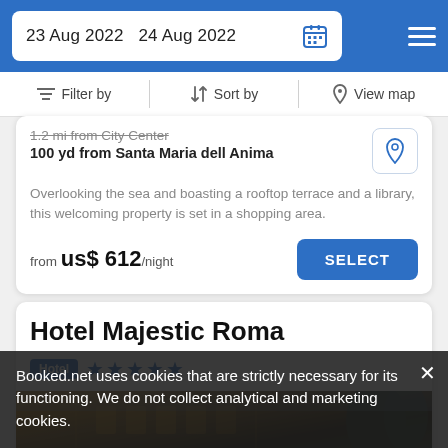23 Aug 2022  24 Aug 2022
Filter by  Sort by  View map
1.2 mi from City Center
100 yd from Santa Maria dell Anima
Overlooking the sea and boasting a rooftop terrace and a library, this welcoming property is set in a shopping area.
from  us$ 612/night  SELECT
Hotel Majestic Roma
Hotel ★★★★★
[Figure (photo): Exterior photo of Hotel Majestic Roma building at dusk, showing illuminated facade with ornate architecture and trees]
Booked.net uses cookies that are strictly necessary for its functioning. We do not collect analytical and marketing cookies.